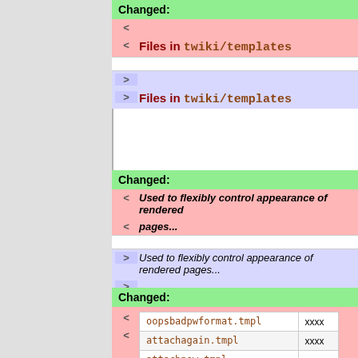Changed:
< (removed empty line)
< Files in twiki/templates
> (added empty line)
> Files in twiki/templates
Changed:
< Used to flexibly control appearance of rendered pages...
> Used to flexibly control appearance of rendered pages...
File: | Used for:
Changed:
|  | xxxx |
| --- | --- |
| oopsbadpwformat.tmpl | xxxx |
| attachagain.tmpl | xxxx |
| attachnew.tmpl | xxxx |